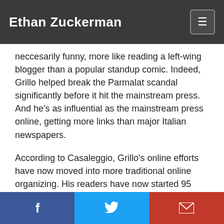Ethan Zuckerman
neccesarily funny, more like reading a left-wing blogger than a popular standup comic. Indeed, Grillo helped break the Parmalat scandal significantly before it hit the mainstream press. And he’s as influential as the mainstream press online, getting more links than major Italian newspapers.
According to Casaleggio, Grillo’s online efforts have now moved into more traditional online organizing. His readers have now started 95 meetups, rivaling the number of meetups organized for John Kerry. Recent online campaigns have mobilized over 100,000 emails to express opposition to the war in Iraq. Grillo has been raising money
f  [twitter bird]  [mail envelope]